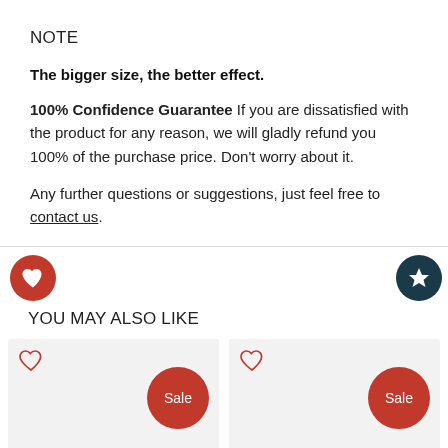NOTE
The bigger size, the better effect.
100% Confidence Guarantee If you are dissatisfied with the product for any reason, we will gladly refund you 100% of the purchase price. Don't worry about it.
Any further questions or suggestions, just feel free to contact us.
YOU MAY ALSO LIKE
[Figure (other): Two product cards with heart icons and Sale badges on gray backgrounds]
[Figure (other): Red heart icon circle button and dark teal star icon circle button]